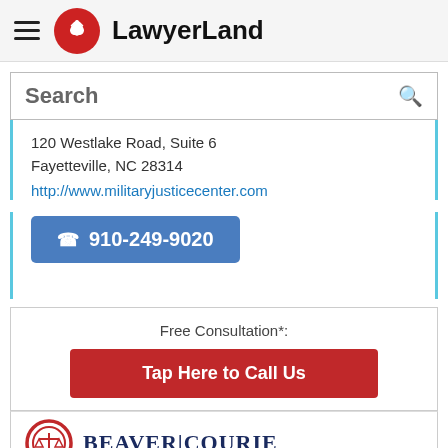LawyerLand
Search
120 Westlake Road, Suite 6
Fayetteville, NC 28314
http://www.militaryjusticecenter.com
☎ 910-249-9020
Free Consultation*:
Tap Here to Call Us
[Figure (logo): Beaver Courie law firm logo with scales of justice icon in a red circle]